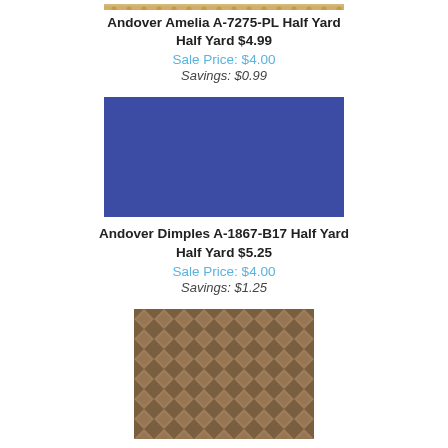[Figure (photo): Partial view of a tan/gold patterned fabric swatch at top of page]
Andover Amelia A-7275-PL Half Yard
Half Yard $4.99
Sale Price: $4.00
Savings: $0.99
[Figure (photo): Solid dark blue (navy/royal blue) fabric swatch]
Andover Dimples A-1867-B17 Half Yard
Half Yard $5.25
Sale Price: $4.00
Savings: $1.25
[Figure (photo): Brown and pink floral/diamond patterned fabric swatch]
Andover Fabrics Annandale by Jo Morton P0260-5090-N Half Yard
Half Yard $5.99
Sale Price: $4.00